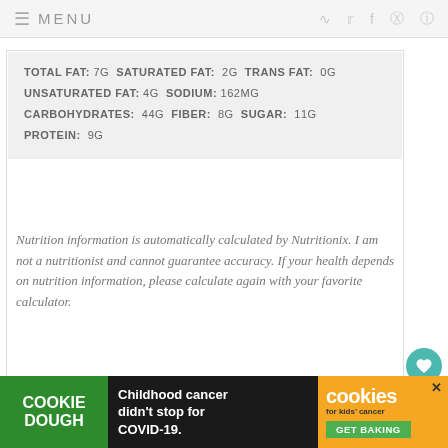MENU
TOTAL FAT: 7g SATURATED FAT: 2g TRANS FAT: 0g UNSATURATED FAT: 4g SODIUM: 162mg CARBOHYDRATES: 44g FIBER: 8g SUGAR: 11g PROTEIN: 9g
Nutrition information is automatically calculated by Nutritionix. I am not a nutritionist and cannot guarantee accuracy. If your health depends on nutrition information, please calculate again with your favorite calculator.
© MARINA DELIO  CUISINE ITALIAN / CATEGORY PASTA
WHAT'S NEXT → Pizzelle Cookie Reci...
COOKIE DOUGH  Childhood cancer didn't stop for COVID-19.  cookies for kids cancer  GET BAKING